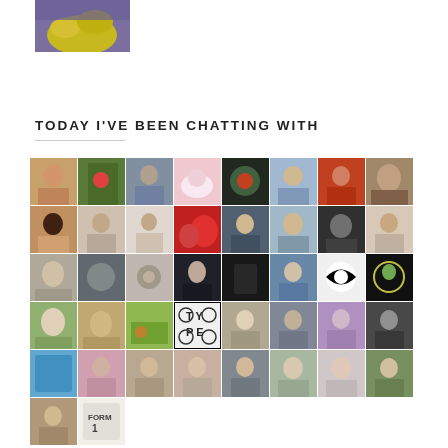[Figure (photo): Close-up photo of yellow flowers against purple background]
TODAY I'VE BEEN CHATTING WITH
[Figure (photo): Grid of approximately 40 avatar/profile photos showing various people, animals, and icons used in social media or blog comments]